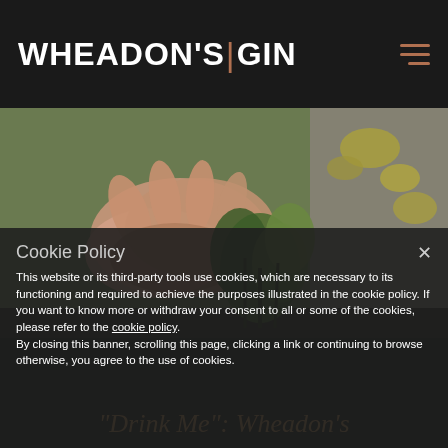WHEADON'S | GIN
[Figure (photo): Close-up photo of hands cupping plants/botanicals near a mossy rock with yellow lichen, outdoors]
Cookie Policy
This website or its third-party tools use cookies, which are necessary to its functioning and required to achieve the purposes illustrated in the cookie policy. If you want to know more or withdraw your consent to all or some of the cookies, please refer to the cookie policy. By closing this banner, scrolling this page, clicking a link or continuing to browse otherwise, you agree to the use of cookies.
"Drink Me": Wheadon's